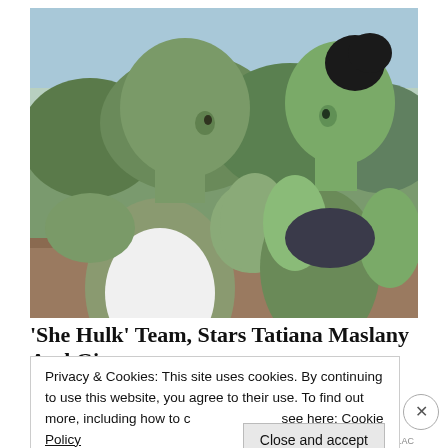[Figure (photo): Two green-skinned CGI characters (She-Hulk characters) facing each other with hands pressed together in a prayer-like gesture, outdoors with greenery in the background.]
'She Hulk' Team, Stars Tatiana Maslany And Ginger
Privacy & Cookies: This site uses cookies. By continuing to use this website, you agree to their use. To find out more, including how to control cookies, see here: Cookie Policy